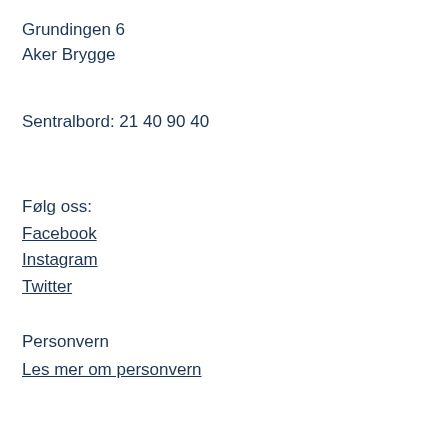Grundingen 6
Aker Brygge
Sentralbord: 21 40 90 40
Følg oss:
Facebook
Instagram
Twitter
Personvern
Les mer om personvern